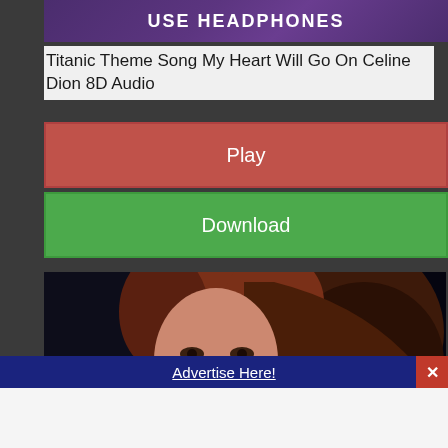[Figure (screenshot): Purple banner with text USE HEADPHONES in white bold capital letters]
Titanic Theme Song My Heart Will Go On Celine Dion 8D Audio
Play
Download
[Figure (photo): Photo of Celine Dion with long red-brown hair against a dark background]
Advertise Here!